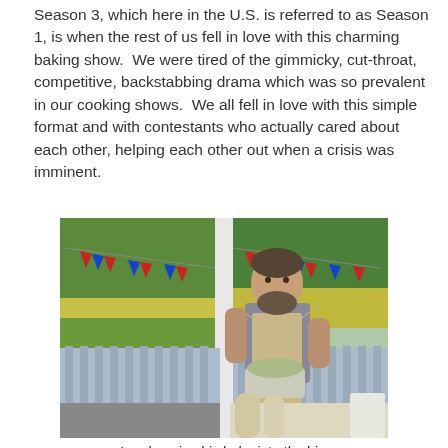Season 3, which here in the U.S. is referred to as Season 1, is when the rest of us fell in love with this charming baking show.  We were tired of the gimmicky, cut-throat, competitive, backstabbing drama which was so prevalent in our cooking shows.  We all fell in love with this simple format and with contestants who actually cared about each other, helping each other out when a crisis was imminent.
[Figure (photo): A bearded man wearing a grey t-shirt and beige apron stands outdoors under a tent decorated with British Union Jack bunting flags, working at a baking station. Green trees and yellow flowers are visible in the background.]
Ian dumping his bake into the bin.